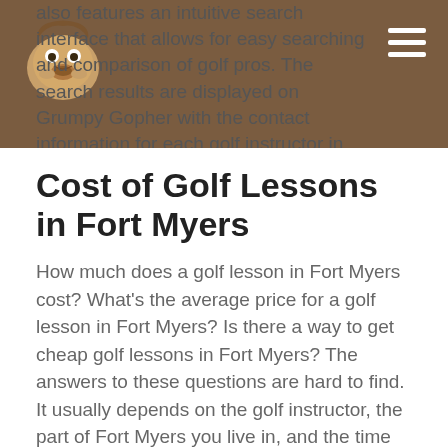also features an intuitive search interface that allows for easy searching and comparison of golf pros. The search results are displayed on Grumpy Gopher with the contact information for each golf instructor in Fort Myers.
Cost of Golf Lessons in Fort Myers
How much does a golf lesson in Fort Myers cost? What's the average price for a golf lesson in Fort Myers? Is there a way to get cheap golf lessons in Fort Myers? The answers to these questions are hard to find. It usually depends on the golf instructor, the part of Fort Myers you live in, and the time you choose to take the lesson. The price of a golf lesson is definitely